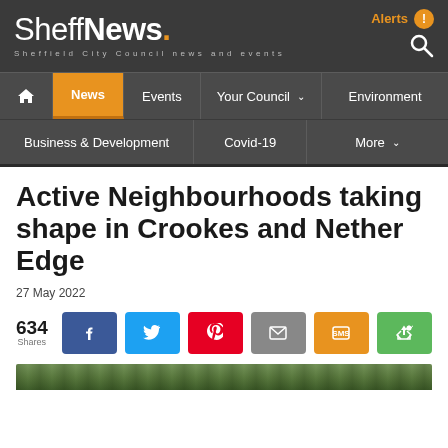SheffNews. Sheffield City Council news and events
News | Events | Your Council | Environment | Business & Development | Covid-19 | More
Active Neighbourhoods taking shape in Crookes and Nether Edge
27 May 2022
634 Shares
[Figure (photo): Partial view of a green outdoor area, bottom strip of image visible]